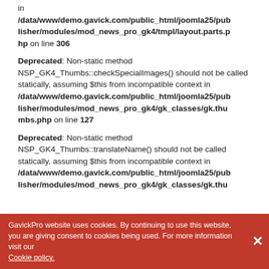in /data/www/demo.gavick.com/public_html/joomla25/publisher/modules/mod_news_pro_gk4/tmpl/layout.parts.php on line 306
Deprecated: Non-static method NSP_GK4_Thumbs::checkSpecialImages() should not be called statically, assuming $this from incompatible context in /data/www/demo.gavick.com/public_html/joomla25/publisher/modules/mod_news_pro_gk4/gk_classes/gk.thumbs.php on line 127
Deprecated: Non-static method NSP_GK4_Thumbs::translateName() should not be called statically, assuming $this from incompatible context in /data/www/demo.gavick.com/public_html/joomla25/publisher/modules/mod_news_pro_gk4/gk_classes/gk.thu...
GavickPro website uses cookies. By continuing to use this website, you are giving consent to cookies being used. For more information visit our Cookie policy.